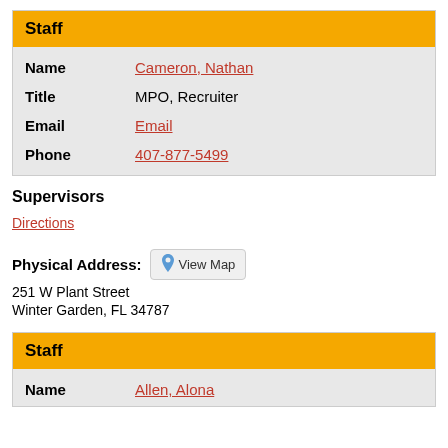| Field | Value |
| --- | --- |
| Staff |  |
| Name | Cameron, Nathan |
| Title | MPO, Recruiter |
| Email | Email |
| Phone | 407-877-5499 |
Supervisors
Directions
Physical Address: View Map
251 W Plant Street
Winter Garden, FL 34787
| Field | Value |
| --- | --- |
| Staff |  |
| Name | Allen, Alona |